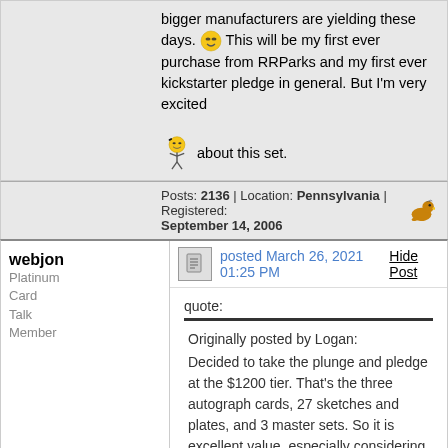bigger manufacturers are yielding these days. 😎 This will be my first ever purchase from RRParks and my first ever kickstarter pledge in general. But I'm very excited about this set.
Posts: 2136 | Location: Pennsylvania | Registered: September 14, 2006
webjon
Platinum Card Talk Member
posted March 26, 2021 01:25 PM
Hide Post
quote:
Originally posted by Logan:
Decided to take the plunge and pledge at the $1200 tier. That's the three autograph cards, 27 sketches and plates, and 3 master sets. So it is excellent value, especially considering what most $1200 cases from the bigger manufacturers are yielding these days. 😎 This will be my first ever purchase from RRParks and my first ever kickstarter pledge in general. But I'm very excited about this set.